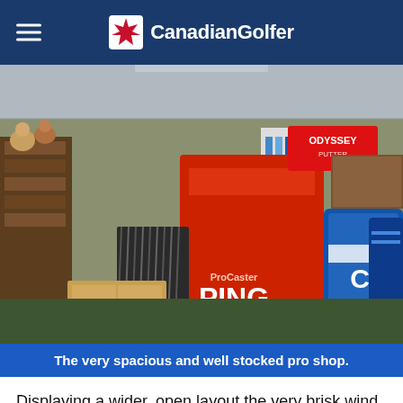CanadianGolfer
[Figure (photo): Interior of a golf pro shop showing golf clubs, bags, clothing racks, and equipment displays including PING and Odyssey brands.]
The very spacious and well stocked pro shop.
Displaying a wider, open layout the very brisk wind would present an added challenge to our day. The entire facility had a very tasteful look and feel, money well spent on providing public golf at a very high standard. The clubhouse is very versatile containing an ample sized Pro Shop, banquet room and the awesome Legends and Heroes Sports